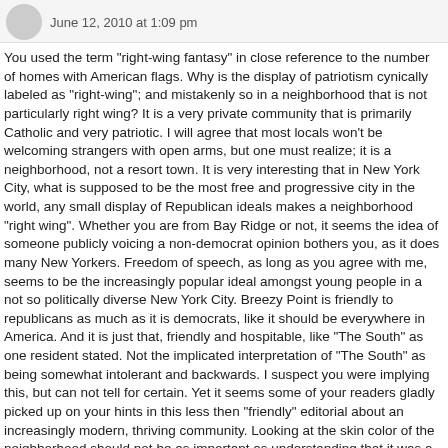June 12, 2010 at 1:09 pm
You used the term "right-wing fantasy" in close reference to the number of homes with American flags. Why is the display of patriotism cynically labeled as "right-wing"; and mistakenly so in a neighborhood that is not particularly right wing? It is a very private community that is primarily Catholic and very patriotic. I will agree that most locals won't be welcoming strangers with open arms, but one must realize; it is a neighborhood, not a resort town. It is very interesting that in New York City, what is supposed to be the most free and progressive city in the world, any small display of Republican ideals makes a neighborhood "right wing". Whether you are from Bay Ridge or not, it seems the idea of someone publicly voicing a non-democrat opinion bothers you, as it does many New Yorkers. Freedom of speech, as long as you agree with me, seems to be the increasingly popular ideal amongst young people in a not so politically diverse New York City. Breezy Point is friendly to republicans as much as it is democrats, like it should be everywhere in America. And it is just that, friendly and hospitable, like "The South" as one resident stated. Not the implicated interpretation of "The South" as being somewhat intolerant and backwards. I suspect you were implying this, but can not tell for certain. Yet it seems some of your readers gladly picked up on your hints in this less then "friendly" editorial about an increasingly modern, thriving community. Looking at the skin color of the neighborhood should not be as important as understanding that it was a strong immigrant culture that built the community; and that culture remains. Areas throughout the city are celebrated for their immigrant cultures, which they maintain for generations, but this one in particular seems to grab negative attention for being primarily white.